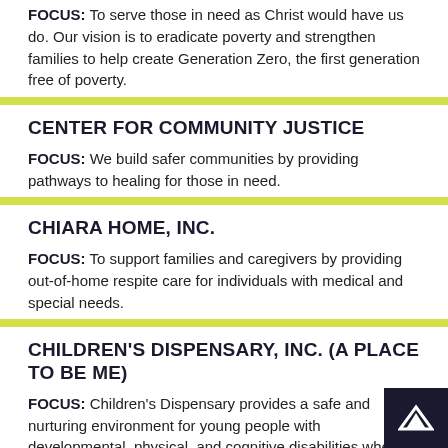FOCUS: To serve those in need as Christ would have us do. Our vision is to eradicate poverty and strengthen families to help create Generation Zero, the first generation free of poverty.
CENTER FOR COMMUNITY JUSTICE
FOCUS: We build safer communities by providing pathways to healing for those in need.
CHIARA HOME, INC.
FOCUS: To support families and caregivers by providing out-of-home respite care for individuals with medical and special needs.
CHILDREN'S DISPENSARY, INC. (A PLACE TO BE ME)
FOCUS: Children's Dispensary provides a safe and nurturing environment for young people with developmental, physical, and cognitive disabilities where they can enhance their social interactions, learn important life skills, and enjoy new experiences
CHRIST CHILD SOCIETY